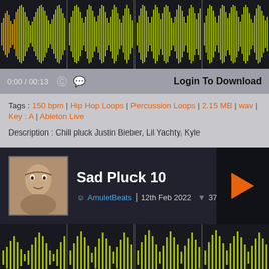[Figure (other): Audio waveform visualization in yellow-green on dark background, top portion of page]
0:00 / 00:13  Login To Download
Tags : 150 bpm | Hip Hop Loops | Percussion Loops | 2.15 MB | wav | Key : A | Ableton Live
Description : Chill pluck Justin Bieber, Lil Yachty, Kyle
Sad Pluck 10
AmuletBeats | 12th Feb 2022  371  1
[Figure (other): Audio waveform visualization in yellow-green on dark background for Sad Pluck 10]
0:00 / 00:11  Login To Download